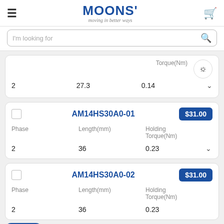MOONS' moving in better ways
I'm looking for
| Phase | Length(mm) | Holding Torque(Nm) |
| --- | --- | --- |
| 2 | 27.3 | 0.14 |
AM14HS30A0-01 $31.00
| Phase | Length(mm) | Holding Torque(Nm) |
| --- | --- | --- |
| 2 | 36 | 0.23 |
AM14HS30A0-02 $31.00
| Phase | Length(mm) | Holding Torque(Nm) |
| --- | --- | --- |
| 2 | 36 | 0.23 |